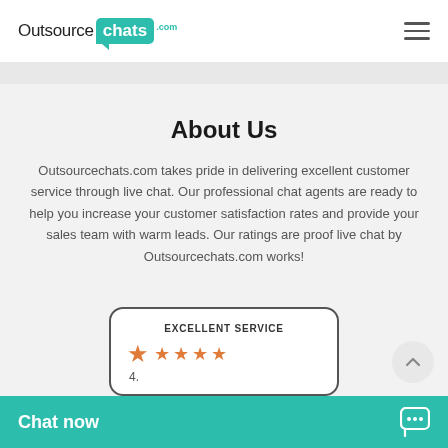[Figure (logo): OutsourceChats.com logo with teal speech bubble containing 'chats' text]
About Us
Outsourcechats.com takes pride in delivering excellent customer service through live chat. Our professional chat agents are ready to help you increase your customer satisfaction rates and provide your sales team with warm leads. Our ratings are proof live chat by Outsourcechats.com works!
[Figure (infographic): Review card showing EXCELLENT SERVICE label with orange star rating and score 4.x]
[Figure (other): Teal Chat now bar at the bottom with chat bubble icon]